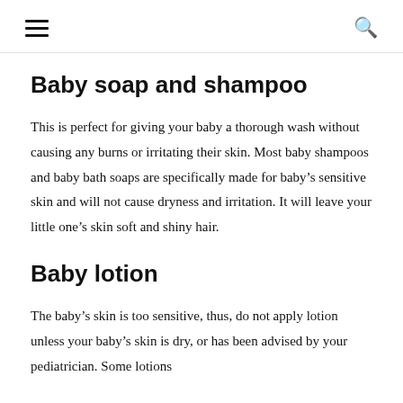☰  🔍
Baby soap and shampoo
This is perfect for giving your baby a thorough wash without causing any burns or irritating their skin. Most baby shampoos and baby bath soaps are specifically made for baby's sensitive skin and will not cause dryness and irritation. It will leave your little one's skin soft and shiny hair.
Baby lotion
The baby's skin is too sensitive, thus, do not apply lotion unless your baby's skin is dry, or has been advised by your pediatrician. Some lotions